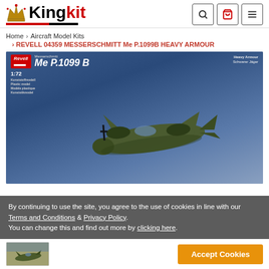[Figure (logo): Kingkit logo with crown icon, black and red text, red underline]
Home > Aircraft Model Kits
> REVELL 04359 MESSERSCHMITT Me P.1099B HEAVY ARMOUR
[Figure (photo): Revell model kit box art showing Messerschmitt Me P.1099B Heavy Armour Schwerer Jager, 1:72 scale, with olive-colored aircraft model on blue sky background]
By continuing to use the site, you agree to the use of cookies in line with our Terms and Conditions & Privacy Policy. You can change this and find out more by clicking here.
[Figure (photo): Thumbnail of aircraft model kit box]
Accept Cookies